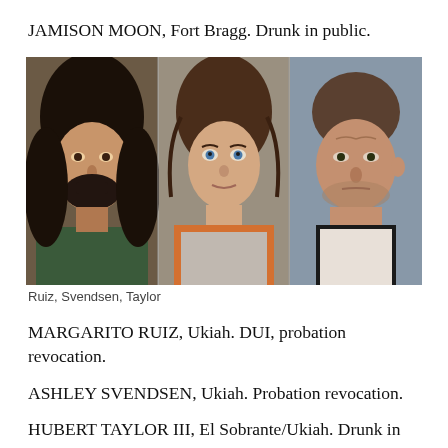JAMISON MOON, Fort Bragg. Drunk in public.
[Figure (photo): Three mugshot photos side by side: Ruiz (bearded man with long dark hair), Svendsen (woman with dark brown hair, orange top), Taylor (man with short hair and facial stubble, white shirt)]
Ruiz, Svendsen, Taylor
MARGARITO RUIZ, Ukiah. DUI, probation revocation.
ASHLEY SVENDSEN, Ukiah. Probation revocation.
HUBERT TAYLOR III, El Sobrante/Ukiah. Drunk in public, probation revocation.